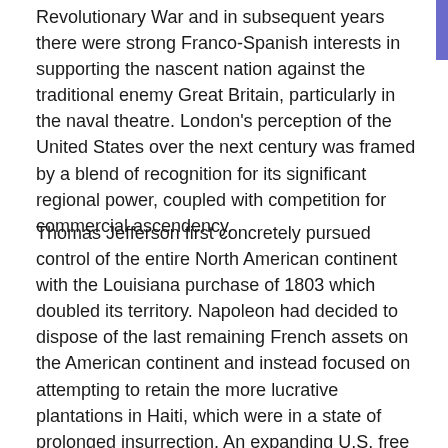Revolutionary War and in subsequent years there were strong Franco-Spanish interests in supporting the nascent nation against the traditional enemy Great Britain, particularly in the naval theatre. London's perception of the United States over the next century was framed by a blend of recognition for its significant regional power, coupled with competition for commercial ascendency.
Thomas Jefferson first concretely pursued control of the entire North American continent with the Louisiana purchase of 1803 which doubled its territory. Napoleon had decided to dispose of the last remaining French assets on the American continent and instead focused on attempting to retain the more lucrative plantations in Haiti, which were in a state of prolonged insurrection. An expanding U.S. free from French obstruction now had compelling reason to keep the European powers out of the New World. However, the trajectory towards hegemony wasn't linear. Akin to how its ancient equivalent Rome (which it was partly modeled after) had overexerted itself early in its history and was sacked by